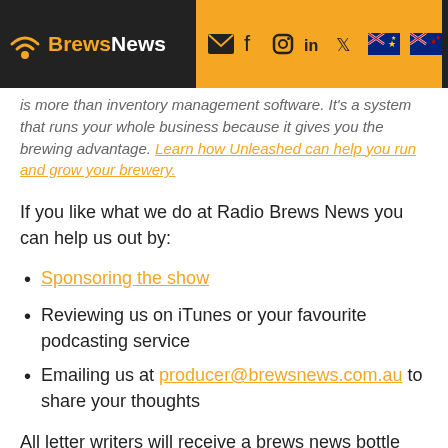BrewsNews
is more than inventory management software. It's a system that runs your whole business because it gives you the brewing advantage. Learn how Unleashed can help you run and grow your brewery.
If you like what we do at Radio Brews News you can help us out by:
Sponsoring the show
Reviewing us on iTunes or your favourite podcasting service
Emailing us at producer@brewsnews.com.au to share your thoughts
All letter writers will receive a brews news bottle opener and go into the draw to win a mixed six-pack thanks to our good friends at Beer Cartel who